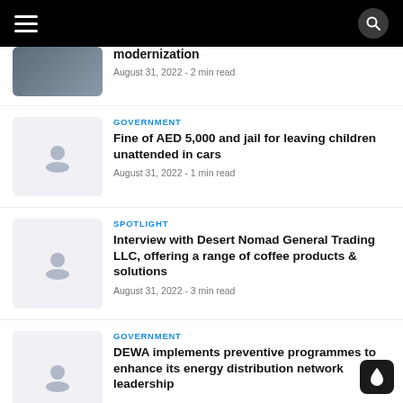Navigation header with hamburger menu and search icon
modernization
August 31, 2022  -  2 min read
GOVERNMENT
Fine of AED 5,000 and jail for leaving children unattended in cars
August 31, 2022  -  1 min read
SPOTLIGHT
Interview with Desert Nomad General Trading LLC, offering a range of coffee products & solutions
August 31, 2022  -  3 min read
GOVERNMENT
DEWA implements preventive programmes to enhance its energy distribution network leadership